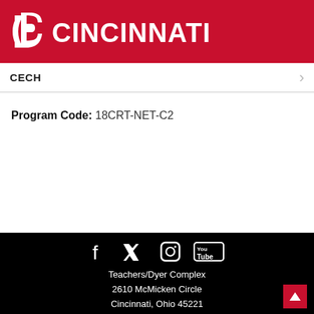[Figure (logo): University of Cincinnati logo — UC interlocked letters mark with CINCINNATI wordmark in white on red background]
CECH >
Program Code: 18CRT-NET-C2
[Figure (infographic): Social media icons: Facebook, Twitter, Instagram, YouTube — white icons on black background]
Teachers/Dyer Complex
2610 McMicken Circle
Cincinnati, Ohio 45221
513-556-4307